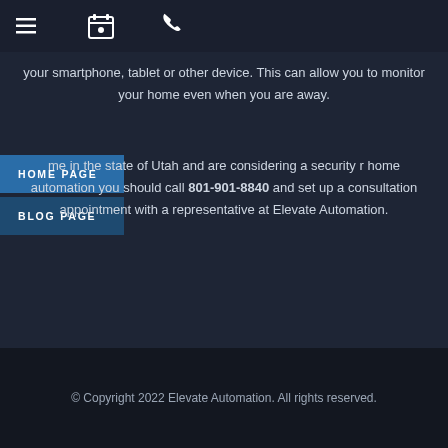[hamburger menu icon] [calendar icon] [phone icon]
your smartphone, tablet or other device. This can allow you to monitor your home even when you are away.
HOME PAGE
BLOG PAGE
me in the state of Utah and are considering a security r home automation you should call 801-901-8840 and set up a consultation appointment with a representative at Elevate Automation.
© Copyright 2022 Elevate Automation. All rights reserved.